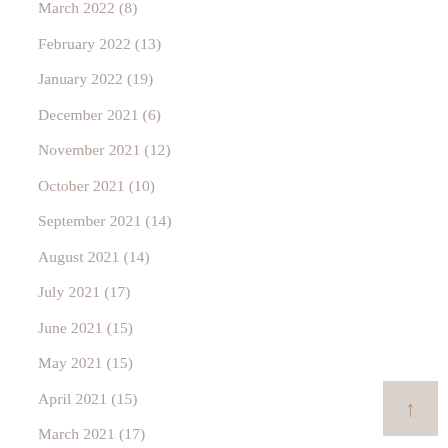March 2022 (8)
February 2022 (13)
January 2022 (19)
December 2021 (6)
November 2021 (12)
October 2021 (10)
September 2021 (14)
August 2021 (14)
July 2021 (17)
June 2021 (15)
May 2021 (15)
April 2021 (15)
March 2021 (17)
February 2021 (14)
January 2021 (15)